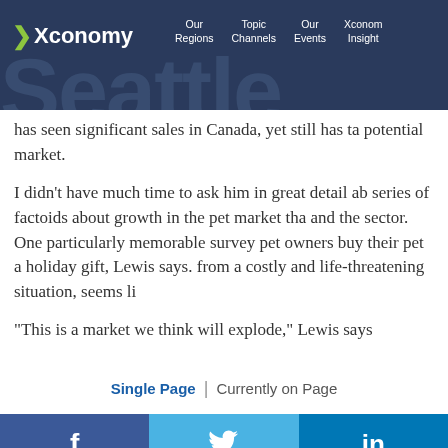Xconomy — Our Regions | Topic Channels | Our Events | Xconomy Insight
has seen significant sales in Canada, yet still has ta potential market.
I didn't have much time to ask him in great detail ab series of factoids about growth in the pet market tha and the sector. One particularly memorable survey pet owners buy their pet a holiday gift, Lewis says. from a costly and life-threatening situation, seems li
“This is a market we think will explode,” Lewis says
Single Page | Currently on Page
[Figure (other): Social share buttons: Facebook (f), Twitter (bird icon), LinkedIn (in)]